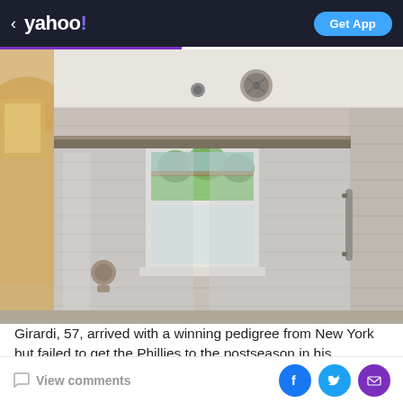< yahoo! | Get App
[Figure (photo): Interior view of a modern bathroom shower enclosure with sliding glass doors, gray striped tile walls, a window with a view of green trees outside, a ceiling fan/vent, and shower fixtures. Photo taken from inside the shower looking out.]
Girardi, 57, arrived with a winning pedigree from New York but failed to get the Phillies to the postseason in his
View comments | Facebook | Twitter | Email